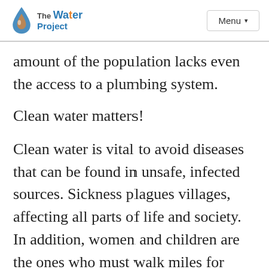The Water Project — Menu
amount of the population lacks even the access to a plumbing system.
Clean water matters!
Clean water is vital to avoid diseases that can be found in unsafe, infected sources. Sickness plagues villages, affecting all parts of life and society. In addition, women and children are the ones who must walk miles for